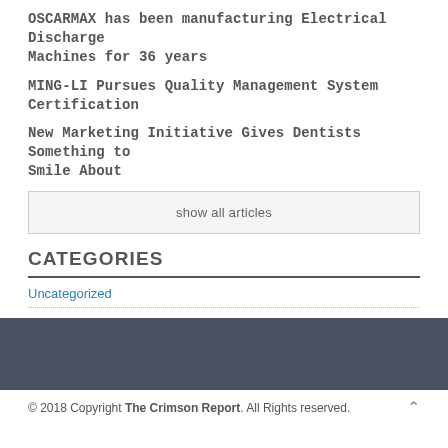OSCARMAX has been manufacturing Electrical Discharge Machines for 36 years
MING-LI Pursues Quality Management System Certification
New Marketing Initiative Gives Dentists Something to Smile About
show all articles
CATEGORIES
Uncategorized
© 2018 Copyright The Crimson Report. All Rights reserved.